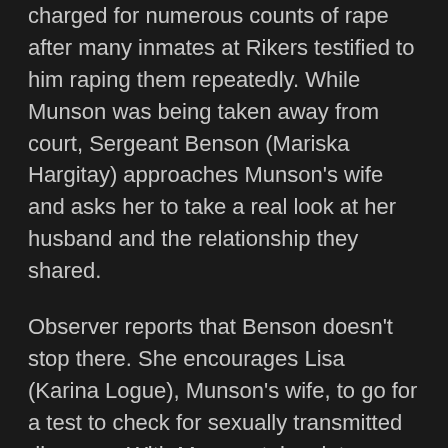charged for numerous counts of rape after many inmates at Rikers testified to him raping them repeatedly. While Munson was being taken away from court, Sergeant Benson (Mariska Hargitay) approaches Munson's wife and asks her to take a real look at her husband and the relationship they shared.
Observer reports that Benson doesn't stop there. She encourages Lisa (Karina Logue), Munson's wife, to go for a test to check for sexually transmitted diseases. With Munson taken into custody, Lisa gets the results of the tests and on the basis of that decides to pack up and leave with her two children. Benson, on hearing the plan, encourages her to leave the house before Munson can return.
While all this seems to be running smoothly, Benson soon gets a call from a tearful Lisa that Munson had applied for a bail too fast for her to wrap her whole